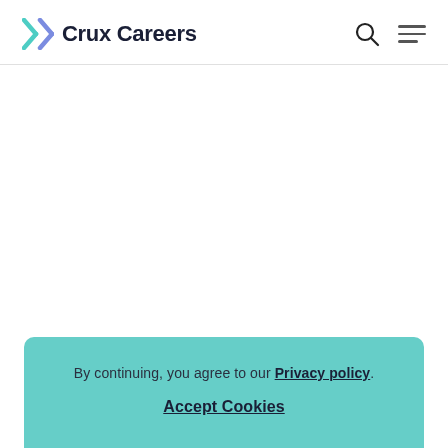Crux Careers
By continuing, you agree to our Privacy policy. Accept Cookies